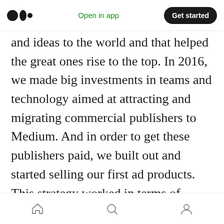Medium logo | Open in app | Get started
and ideas to the world and that helped the great ones rise to the top. In 2016, we made big investments in teams and technology aimed at attracting and migrating commercial publishers to Medium. And in order to get these publishers paid, we built out and started selling our first ad products. This strategy worked in terms of driving growth, as well as improving the volume and consistency of great content. Some of the web's best publishers are now on Medium, and we're happy to work with them every day. We also saw interest from many big brands and promising results from several content
Home | Search | Profile